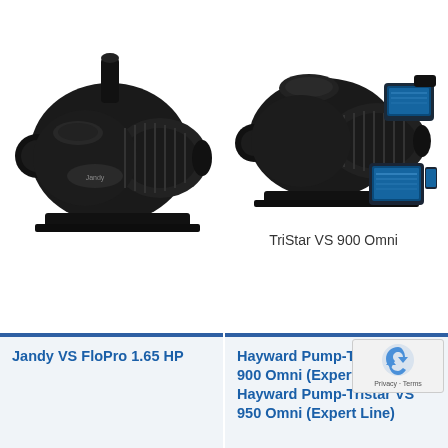[Figure (photo): Jandy VS FloPro pump - dark/black pool pump photographed at an angle, left side of page]
[Figure (photo): Hayward TriStar VS 900 Omni pool pump - dark pool pump with digital control tablet and smartphone displayed alongside it]
TriStar VS 900 Omni
Jandy VS FloPro 1.65 HP
Hayward Pump-Tristar VS 900 Omni (Expert Line) Hayward Pump-Tristar VS 950 Omni (Expert Line)